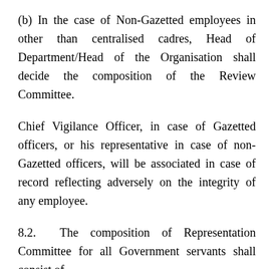(b) In the case of Non-Gazetted employees in other than centralised cadres, Head of Department/Head of the Organisation shall decide the composition of the Review Committee.
Chief Vigilance Officer, in case of Gazetted officers, or his representative in case of non-Gazetted officers, will be associated in case of record reflecting adversely on the integrity of any employee.
8.2. The composition of Representation Committee for all Government servants shall consist of